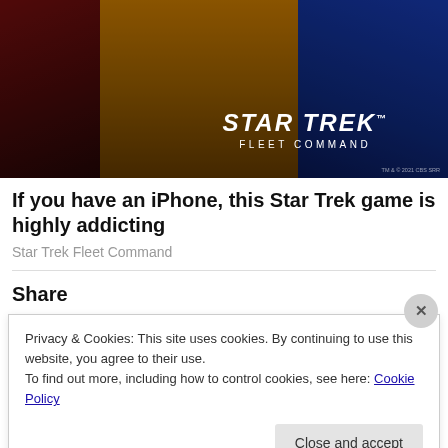[Figure (photo): Star Trek Fleet Command advertisement image showing three figures in Starfleet uniforms (red, yellow/gold, blue) with the Star Trek Fleet Command logo overlaid]
If you have an iPhone, this Star Trek game is highly addicting
Star Trek Fleet Command
Share
Privacy & Cookies: This site uses cookies. By continuing to use this website, you agree to their use.
To find out more, including how to control cookies, see here: Cookie Policy